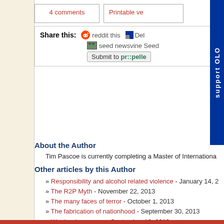4 comments
Printable ve...
Share this:  reddit this  Del...  seed newsvine Seed...  Submit to pr::pelle...
About the Author
Tim Pascoe is currently completing a Master of Internationa...
Other articles by this Author
» Responsibility and alcohol related violence - January 14, 2...
» The R2P Myth - November 22, 2013
» The many faces of terror - October 1, 2013
» The fabrication of nationhood - September 30, 2013
» War by democracy - September 19, 2013
All articles by Tim Pascoe
This work is licensed under a...